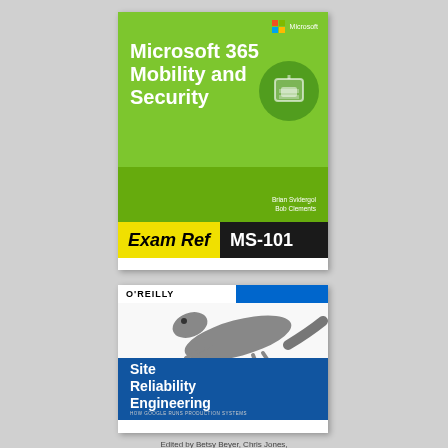[Figure (illustration): Book cover: Microsoft 365 Mobility and Security, Exam Ref MS-101, by Brian Svidergol and Bob Clements. Green cover with Microsoft logo, shield icon, and yellow/black exam ref bar.]
[Figure (illustration): Book cover: Site Reliability Engineering by O'Reilly. White and blue cover with a lizard/gecko illustration on top, blue lower section with white title text. Subtitle: How Google Runs Production Systems. Edited by Betsy Beyer, Chris Jones.]
Edited by Betsy Beyer, Chris Jones,